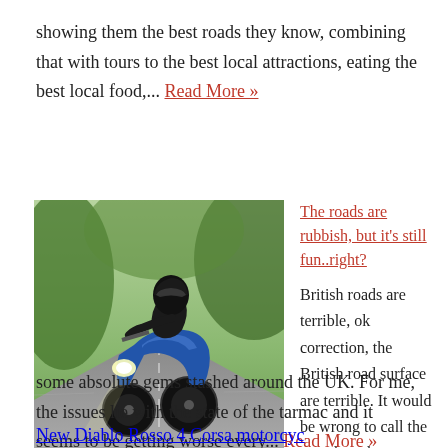showing them the best roads they know, combining that with tours to the best local attractions, eating the best local food,... Read More »
[Figure (photo): A motorcyclist riding a blue sport motorcycle on a tree-lined road, headlight on, wearing dark helmet and gear]
The roads are rubbish, but it's still fun..right?
British roads are terrible, ok correction, the British road surface are terrible. It would be wrong to call the actual roads themselves bad because we are privileged to have some absolute gems stashed around the UK. For me, the issues lie with the state of the tarmac and it seems to be getting worse every... Read More »
New Diablo Rosso 4 Corsa motorcycle